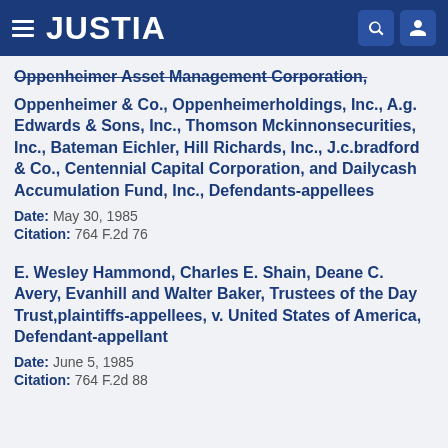JUSTIA
Oppenheimer Asset Management Corporation, Oppenheimer & Co., Oppenheimerholdings, Inc., A.g. Edwards & Sons, Inc., Thomson Mckinnonsecurities, Inc., Bateman Eichler, Hill Richards, Inc., J.c.bradford & Co., Centennial Capital Corporation, and Dailycash Accumulation Fund, Inc., Defendants-appellees
Date: May 30, 1985
Citation: 764 F.2d 76
E. Wesley Hammond, Charles E. Shain, Deane C. Avery, Evanhill and Walter Baker, Trustees of the Day Trust,plaintiffs-appellees, v. United States of America, Defendant-appellant
Date: June 5, 1985
Citation: 764 F.2d 88